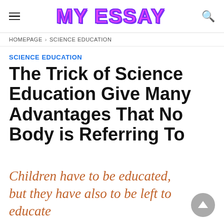MY ESSAY
HOMEPAGE > SCIENCE EDUCATION
SCIENCE EDUCATION
The Trick of Science Education Give Many Advantages That No Body is Referring To
Children have to be educated, but they have also to be left to educate